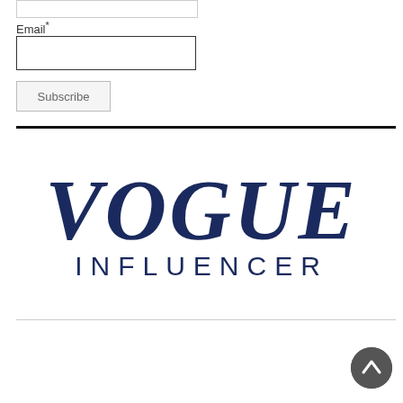Email*
[Figure (logo): Vogue Influencer logo — VOGUE in large dark navy serif italic font, INFLUENCER below in smaller dark navy sans-serif spaced caps]
[Figure (other): Back to top button — dark grey circle with upward arrow chevron]